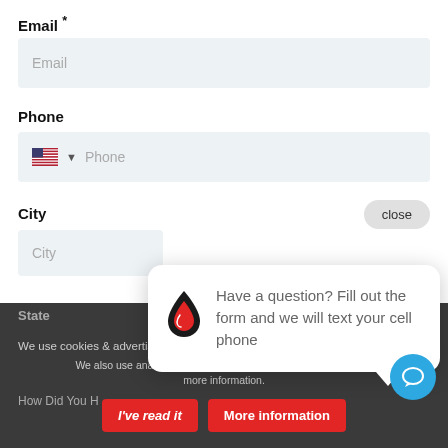Email *
Email (placeholder)
Phone
Phone (placeholder)
City
City (placeholder)
State
Zip
close
[Figure (infographic): Chat popup with a fire/water drop icon and text: Have a question? Fill out the form and we will text your cell phone]
We use cookies o
We also use analytics & advertising services. To opt-out click for more information.
How Did You H
I've read it
More information